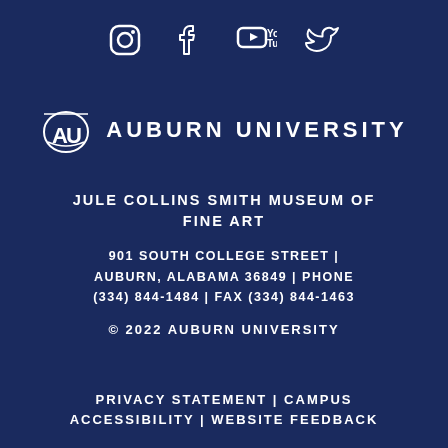[Figure (logo): Social media icons row: Instagram, Facebook, YouTube, Twitter]
[Figure (logo): Auburn University logo with stylized AU shield and text AUBURN UNIVERSITY]
JULE COLLINS SMITH MUSEUM OF FINE ART
901 SOUTH COLLEGE STREET | AUBURN, ALABAMA 36849 | PHONE (334) 844-1484 | FAX (334) 844-1463
© 2022 AUBURN UNIVERSITY
PRIVACY STATEMENT | CAMPUS ACCESSIBILITY | WEBSITE FEEDBACK